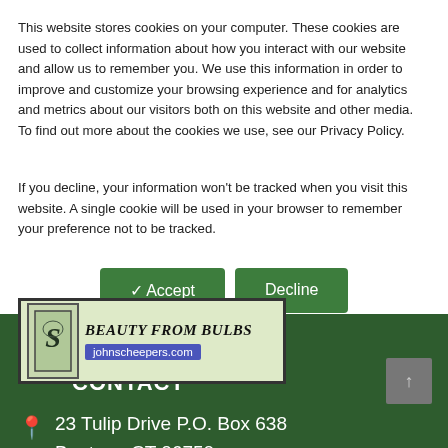This website stores cookies on your computer. These cookies are used to collect information about how you interact with our website and allow us to remember you. We use this information in order to improve and customize your browsing experience and for analytics and metrics about our visitors both on this website and other media. To find out more about the cookies we use, see our Privacy Policy.
If you decline, your information won't be tracked when you visit this website. A single cookie will be used in your browser to remember your preference not to be tracked.
[Figure (screenshot): Two buttons: a green Accept button with a checkmark and a green Decline button]
[Figure (other): Advertisement banner for johnscheepers.com with logo and stylized text BEAUTY FROM BULBS]
CONTACT
23 Tulip Drive P.O. Box 638
Bantam, CT 06750